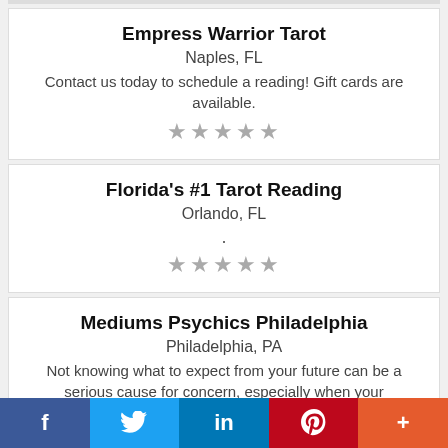Empress Warrior Tarot
Naples, FL
Contact us today to schedule a reading! Gift cards are available.
[Figure (other): 5 gray star rating icons]
Florida's #1 Tarot Reading
Orlando, FL
.
[Figure (other): 5 gray star rating icons]
Mediums Psychics Philadelphia
Philadelphia, PA
Not knowing what to expect from your future can be a serious cause for concern, especially when your
f  (Twitter bird)  in  P  +